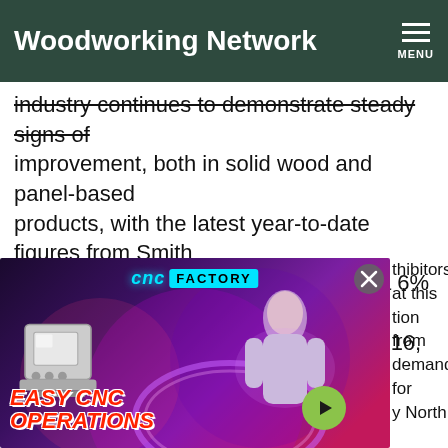Woodworking Network
industry continues to demonstrate steady signs of improvement, both in solid wood and panel-based products, with the latest year-to-date figures from Smith Leonard's Furniture Insights showing a 6% gain in new orders over the first eight months of 2016, with shipments up 5%.
[Figure (photo): CNC Factory advertisement showing Easy CNC Operations with a woman and CNC machine, with a close button and play button]
thibitors at this tion from demand for y North urniture and few showrooms High Point Style n lines, as well